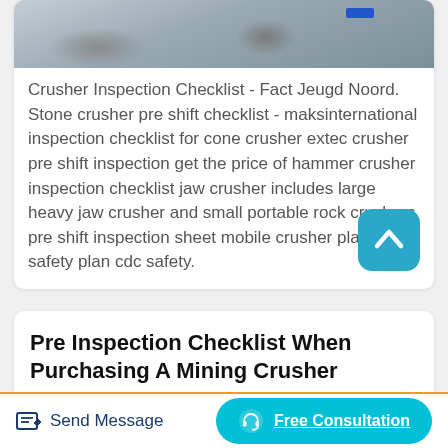[Figure (photo): Aerial or ground-level photo of a crusher/mining site with rocks, rubble, and equipment visible]
Crusher Inspection Checklist - Fact Jeugd Noord. Stone crusher pre shift checklist - maksinternational inspection checklist for cone crusher extec crusher pre shift inspection get the price of hammer crusher inspection checklist jaw crusher includes large heavy jaw crusher and small portable rock crushers pre shift inspection sheet mobile crusher plant safety plan cdc safety.
Pre Inspection Checklist When Purchasing A Mining Crusher
Send Message
Free Consultation